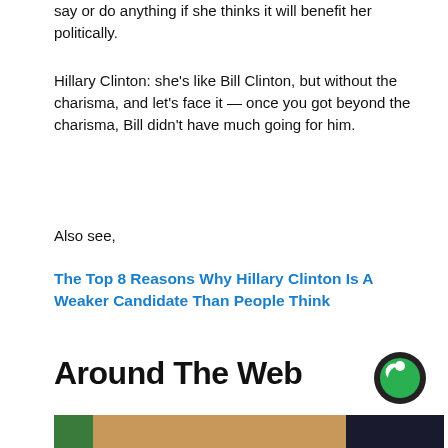say or do anything if she thinks it will benefit her politically.
Hillary Clinton: she's like Bill Clinton, but without the charisma, and let's face it — once you got beyond the charisma, Bill didn't have much going for him.
Also see,
The Top 8 Reasons Why Hillary Clinton Is A Weaker Candidate Than People Think
Around The Web
[Figure (photo): A man standing in front of casino slot machines]